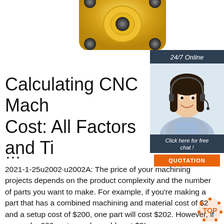[Figure (photo): Gold/brass CNC machined part (flange or mount) viewed from above, partially cropped at top of page]
[Figure (infographic): Sidebar with '24/7 Online' label, photo of smiling woman with headset, 'Click here for free chat!' text, and orange QUOTATION button]
Calculating CNC Mach... Cost: All Factors and Ti...
...
2021-1-25u2002·u2002A: The price of your machining projects depends on the product complexity and the number of parts you want to make. For example, if you're making a part that has a combined machining and material cost of $2 and a setup cost of $200, one part will cost $202. However, if you make 200 parts, each would cost $3!